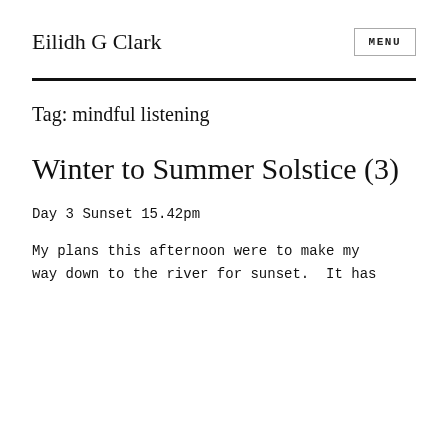Eilidh G Clark
Tag: mindful listening
Winter to Summer Solstice (3)
Day 3 Sunset 15.42pm
My plans this afternoon were to make my way down to the river for sunset.  It has